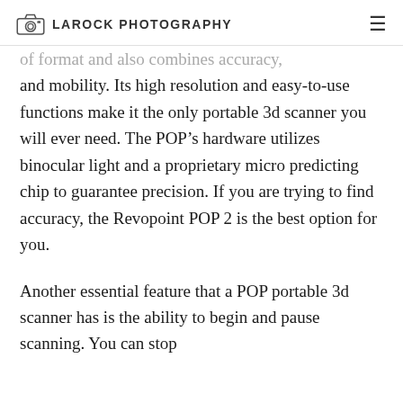LAROCK PHOTOGRAPHY
of format and also combines accuracy, and mobility. Its high resolution and easy-to-use functions make it the only portable 3d scanner you will ever need. The POP’s hardware utilizes binocular light and a proprietary micro predicting chip to guarantee precision. If you are trying to find accuracy, the Revopoint POP 2 is the best option for you.
Another essential feature that a POP portable 3d scanner has is the ability to begin and pause scanning. You can stop